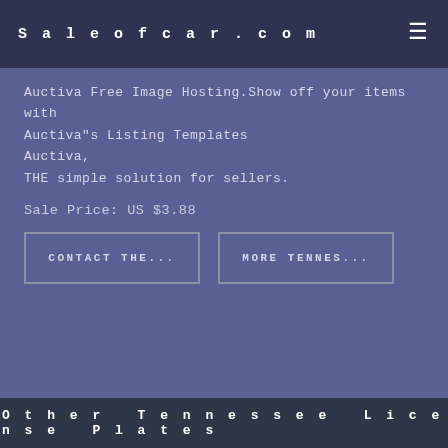Saleofcar.com
Auctiva Free Image Hosting.Show off your items with Auctiva"s Listing Templates
Auctiva,
THE simple solution for sellers.
Sale Price: US $3.88
CONTACT THE...
MORE TENNES...
Other Tennessee License Plates